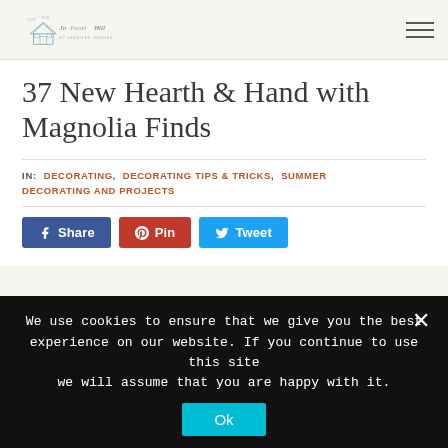Jo Paoki Hill blog logo and navigation
37 New Hearth & Hand with Magnolia Finds
IN: DECORATING, DECORATING TIPS & TRICKS, SUMMER DECORATING AND PROJECTS
Share | Pin | Tweet
We use cookies to ensure that we give you the best experience on our website. If you continue to use this site we will assume that you are happy with it. Ok